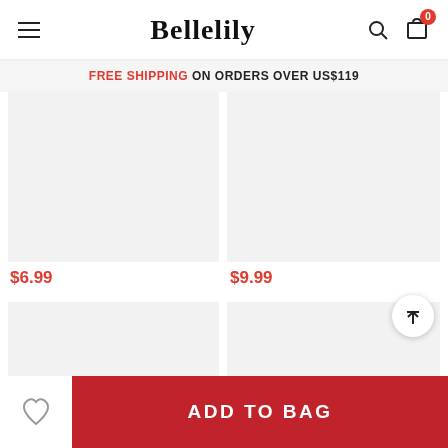Bellelily
FREE SHIPPING ON ORDERS OVER US$119
[Figure (photo): Product image placeholder (light gray background), left column row 1]
[Figure (photo): Product image placeholder (light gray background), right column row 1]
$6.99
$9.99
[Figure (photo): Product image placeholder (light gray background), left column row 2, partially visible]
[Figure (photo): Product image placeholder (light gray background), right column row 2, partially visible]
ADD TO BAG